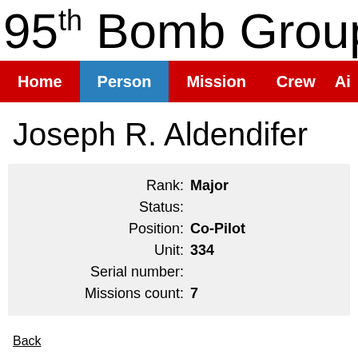95th Bomb Group
Home | Person | Mission | Crew | Ai
Joseph R. Aldendifer
| Field | Value |
| --- | --- |
| Rank: | Major |
| Status: |  |
| Position: | Co-Pilot |
| Unit: | 334 |
| Serial number: |  |
| Missions count: | 7 |
Back